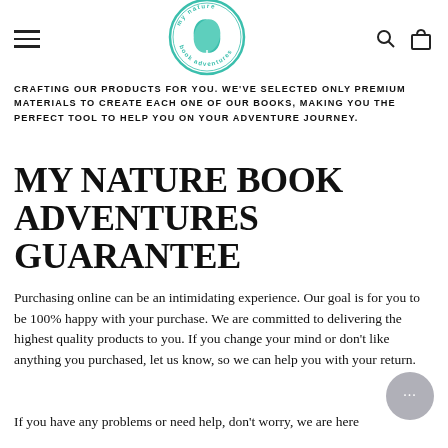[Figure (logo): My Nature Book Adventures circular logo with teal leaf icon]
CRAFTING OUR PRODUCTS FOR YOU. WE'VE SELECTED ONLY PREMIUM MATERIALS TO CREATE EACH ONE OF OUR BOOKS, MAKING YOU THE PERFECT TOOL TO HELP YOU ON YOUR ADVENTURE JOURNEY.
MY NATURE BOOK ADVENTURES GUARANTEE
Purchasing online can be an intimidating experience. Our goal is for you to be 100% happy with your purchase. We are committed to delivering the highest quality products to you. If you change your mind or don't like anything you purchased, let us know, so we can help you with your return.
If you have any problems or need help, don't worry, we are here